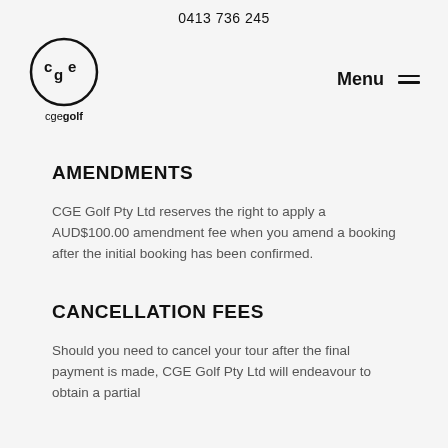0413 736 245
[Figure (logo): CGE Golf circular logo with 'cge' letters inside a circle, with 'cgegolf' text below]
Menu
AMENDMENTS
CGE Golf Pty Ltd reserves the right to apply a AUD$100.00 amendment fee when you amend a booking after the initial booking has been confirmed.
CANCELLATION FEES
Should you need to cancel your tour after the final payment is made, CGE Golf Pty Ltd will endeavour to obtain a partial